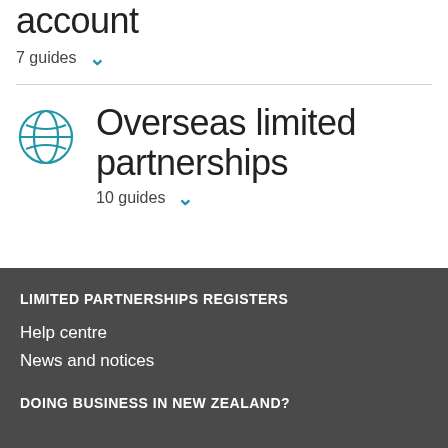account
7 guides
Overseas limited partnerships
10 guides
LIMITED PARTNERSHIPS REGISTERS
Help centre
News and notices
DOING BUSINESS IN NEW ZEALAND?